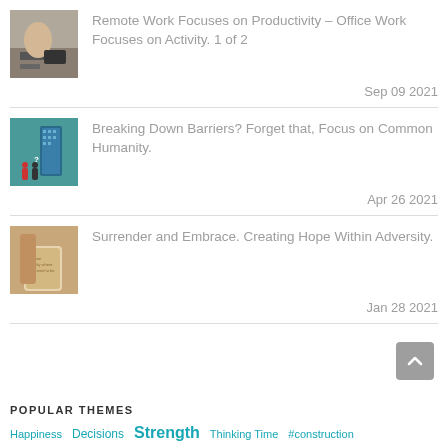[Figure (photo): Thumbnail photo of person using keyboard/mouse]
Remote Work Focuses on Productivity – Office Work Focuses on Activity. 1 of 2
Sep 09 2021
[Figure (photo): Thumbnail illustration of figures near a large blue building]
Breaking Down Barriers? Forget that, Focus on Common Humanity.
Apr 26 2021
[Figure (photo): Thumbnail photo of a coffee cup with text]
Surrender and Embrace. Creating Hope Within Adversity.
Jan 28 2021
POPULAR THEMES
Happiness  Decisions  Strength  Thinking Time  #construction